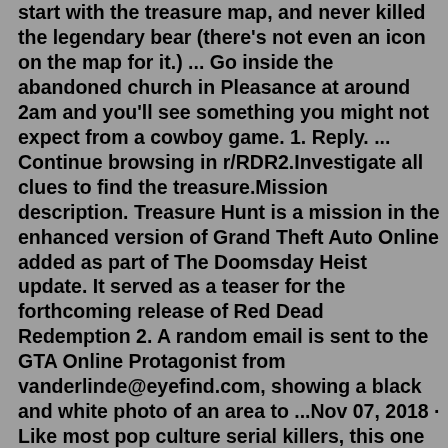start with the treasure map, and never killed the legendary bear (there's not even an icon on the map for it.) ... Go inside the abandoned church in Pleasance at around 2am and you'll see something you might not expect from a cowboy game. 1. Reply. ... Continue browsing in r/RDR2.Investigate all clues to find the treasure.Mission description. Treasure Hunt is a mission in the enhanced version of Grand Theft Auto Online added as part of The Doomsday Heist update. It served as a teaser for the forthcoming release of Red Dead Redemption 2. A random email is sent to the GTA Online Protagonist from vanderlinde@eyefind.com, showing a black and white photo of an area to ...Nov 07, 2018 · Like most pop culture serial killers, this one is just begging to be caught. But it'll take the right detective to figure out the clues. He wants his genius to be understood — but of course, that'll be his downfall. Each victim the RDR2 serial killer leaves out in the world has a clue nearby. Usually shoved inside a facial orifice, but ...